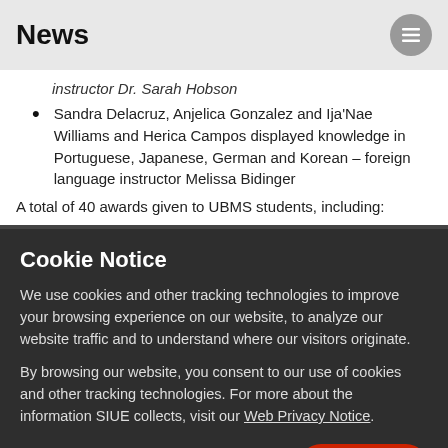News
instructor Dr. Sarah Hobson
Sandra Delacruz, Anjelica Gonzalez and Ija'Nae Williams and Herica Campos displayed knowledge in Portuguese, Japanese, German and Korean – foreign language instructor Melissa Bidinger
A total of 40 awards given to UBMS students, including:
Cookie Notice
We use cookies and other tracking technologies to improve your browsing experience on our website, to analyze our website traffic and to understand where our visitors originate.
By browsing our website, you consent to our use of cookies and other tracking technologies. For more about the information SIUE collects, visit our Web Privacy Notice.